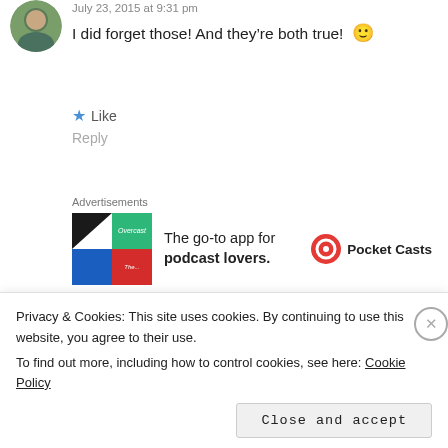July 23, 2015 at 9:31 pm
I did forget those! And they’re both true! 🙂
★ Like
Reply
Advertisements
[Figure (other): Pocket Casts advertisement banner: colorful app icon on left, text 'The go-to app for podcast lovers.' in center, Pocket Casts logo and name on right]
denise says:
Privacy & Cookies: This site uses cookies. By continuing to use this website, you agree to their use.
To find out more, including how to control cookies, see here: Cookie Policy
Close and accept